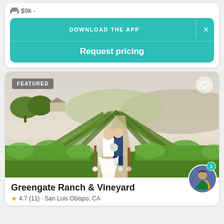$9k -
DOWNLOAD THE APP
Request pricing
[Figure (photo): Featured photo of Greengate Ranch & Vineyard showing a wedding couple standing in rows of vineyard with rolling green hills in the background. A 'FEATURED' badge is in the top left and a heart icon in the top right. Five navigation dots appear at the bottom.]
Greengate Ranch & Vineyard
4.7 (11) · San Luis Obispo, CA